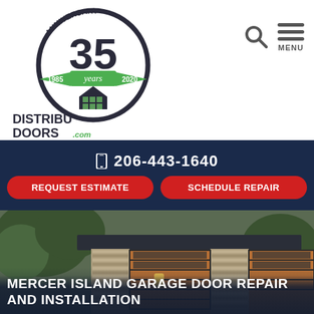[Figure (logo): DistribuDoors.com 35th Anniversary logo (1985-2020). Circle badge with 'ANNIVERSARY' text at top, '35' large numeral in center, green ribbon with 'years', '1985' and '2020' dates, house icon, and 'DISTRIBU DOORS .com' wordmark below with tagline 'Selling the Best. Servicing the Rest.']
[Figure (other): Search icon (magnifying glass) and hamburger menu icon with 'MENU' label in top right corner]
206-443-1640
REQUEST ESTIMATE
SCHEDULE REPAIR
[Figure (photo): Modern home exterior with horizontal wood garage doors, stone pillars, flat roof, surrounded by trees and greenery]
MERCER ISLAND GARAGE DOOR REPAIR AND INSTALLATION